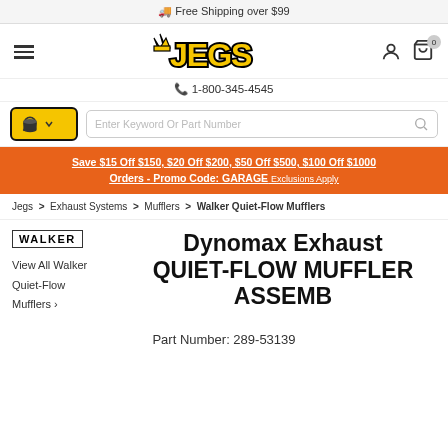🚚 Free Shipping over $99
[Figure (logo): JEGS logo in yellow with black outline and crown symbol]
1-800-345-4545
Save $15 Off $150, $20 Off $200, $50 Off $500, $100 Off $1000 Orders - Promo Code: GARAGE Exclusions Apply
Jegs > Exhaust Systems > Mufflers > Walker Quiet-Flow Mufflers
[Figure (logo): Walker brand logo in a box]
View All Walker Quiet-Flow Mufflers >
Dynomax Exhaust QUIET-FLOW MUFFLER ASSEMB
Part Number: 289-53139